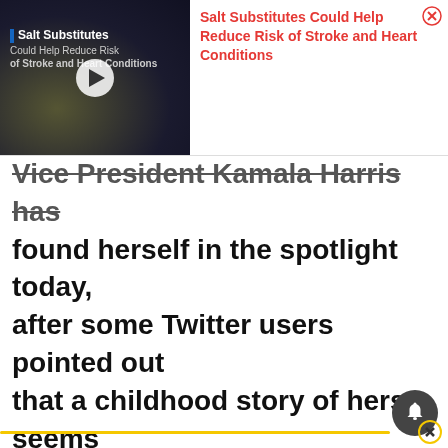[Figure (screenshot): Video ad thumbnail showing 'Salt Substitutes Could Help Reduce Risk of Stroke and Heart Conditions' with dark background and play button]
Salt Substitutes Could Help Reduce Risk of Stroke and Heart Conditions
Vice President Kamala Harris has found herself in the spotlight today, after some Twitter users pointed out that a childhood story of hers seems remarkably similar to a story told by Martin Luther King in a 1965 interview. So, what’s behind the Kamala Harris “fweedom” story? Let’s take a look.